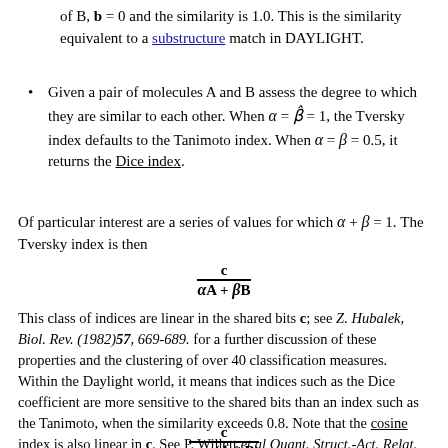of B, b = 0 and the similarity is 1.0. This is the similarity equivalent to a substructure match in DAYLIGHT.
Given a pair of molecules A and B assess the degree to which they are similar to each other. When α = β = 1, the Tversky index defaults to the Tanimoto index. When α = β = 0.5, it returns the Dice index.
Of particular interest are a series of values for which α + β = 1. The Tversky index is then
This class of indices are linear in the shared bits c; see Z. Hubalek, Biol. Rev. (1982)57, 669-689. for a further discussion of these properties and the clustering of over 40 classification measures. Within the Daylight world, it means that indices such as the Dice coefficient are more sensitive to the shared bits than an index such as the Tanimoto, when the similarity exceeds 0.8. Note that the cosine index is also linear in c. See P. Willett et al Quant. Struct.-Act. Relat. (1995), 14(6), 501-6. for details of the use of this index.